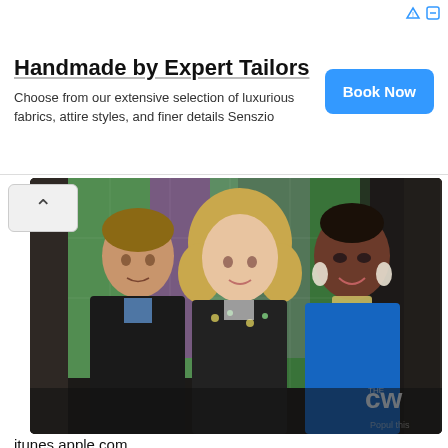[Figure (infographic): Advertisement banner: 'Handmade by Expert Tailors' with body text and a 'Book Now' blue button]
[Figure (photo): Three people (two women, one man) posing together in front of a colorful purple and green lit background. CW network logo visible in bottom right. PopulThis watermark. Appears to be cast of The Carrie Diaries TV show.]
itunes.apple.com
"The Carrie Diaries" is the prequel to "Sex in the City," a series you might have wondered at when you were younger and your mom watched it